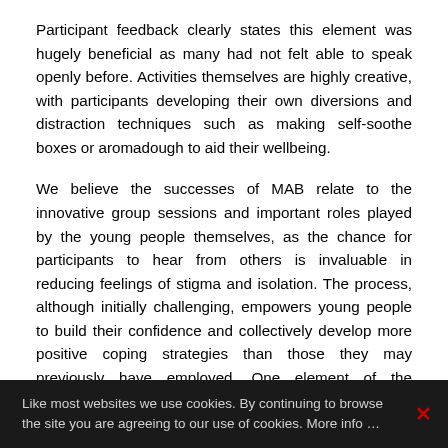Participant feedback clearly states this element was hugely beneficial as many had not felt able to speak openly before. Activities themselves are highly creative, with participants developing their own diversions and distraction techniques such as making self-soothe boxes or aromadough to aid their wellbeing.
We believe the successes of MAB relate to the innovative group sessions and important roles played by the young people themselves, as the chance for participants to hear from others is invaluable in reducing feelings of stigma and isolation. The process, although initially challenging, empowers young people to build their confidence and collectively develop more positive coping strategies than those they may previously have employed. One element of the programme involves participants creating something that will inspire other young people to feel
Like most websites we use cookies. By continuing to browse the site you are agreeing to our use of cookies. More info …